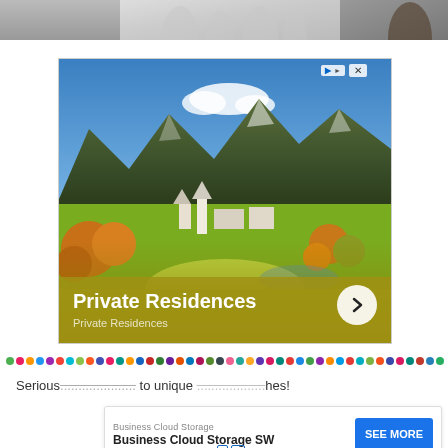[Figure (photo): Top strip showing glassware/laboratory equipment on a shelf, partially cropped]
[Figure (photo): Advertisement banner showing an Alpine village landscape in autumn with mountains in the background. Overlay text reads 'Private Residences' with a navigation arrow button. Small ad icons top right. Subtitle 'Private Residences'.]
[Figure (other): Decorative multicolored dots row separator]
Serious... to unique ... hes!
[Figure (other): Bottom ad bar: 'Business Cloud Storage' / 'Business Cloud Storage SW' with SEE MORE button and ad icons]